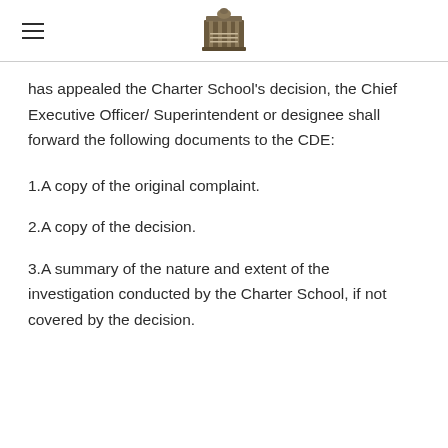[Logo: Los Angeles Greenwood Academy]
has appealed the Charter School's decision, the Chief Executive Officer/ Superintendent or designee shall forward the following documents to the CDE:
1.A copy of the original complaint.
2.A copy of the decision.
3.A summary of the nature and extent of the investigation conducted by the Charter School, if not covered by the decision.